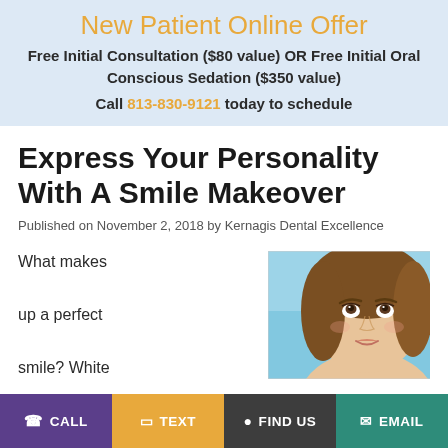New Patient Online Offer
Free Initial Consultation ($80 value) OR Free Initial Oral Conscious Sedation ($350 value)
Call 813-830-9121 today to schedule
Express Your Personality With A Smile Makeover
Published on November 2, 2018 by Kernagis Dental Excellence
What makes up a perfect smile? White
[Figure (photo): Close-up photo of a smiling young woman with brown hair, looking upward, against a light blue background]
CALL  TEXT  FIND US  EMAIL